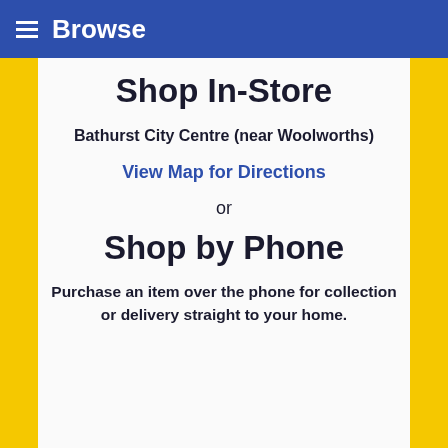Browse
Shop In-Store
Bathurst City Centre (near Woolworths)
View Map for Directions
or
Shop by Phone
Purchase an item over the phone for collection or delivery straight to your home.